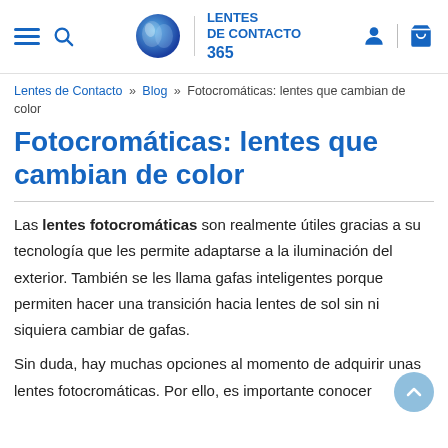Lentes de Contacto 365 — navigation header with hamburger menu, search, logo, user and cart icons
Lentes de Contacto » Blog » Fotocromáticas: lentes que cambian de color
Fotocromáticas: lentes que cambian de color
Las lentes fotocromáticas son realmente útiles gracias a su tecnología que les permite adaptarse a la iluminación del exterior. También se les llama gafas inteligentes porque permiten hacer una transición hacia lentes de sol sin ni siquiera cambiar de gafas.
Sin duda, hay muchas opciones al momento de adquirir unas lentes fotocromáticas. Por ello, es importante conocer